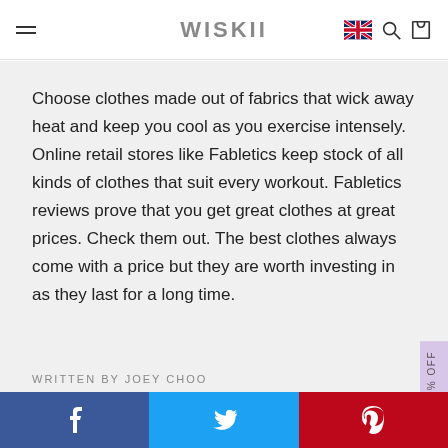WISKII
Choose clothes made out of fabrics that wick away heat and keep you cool as you exercise intensely. Online retail stores like Fabletics keep stock of all kinds of clothes that suit every workout. Fabletics reviews prove that you get great clothes at great prices. Check them out. The best clothes always come with a price but they are worth investing in as they last for a long time.
WRITTEN BY JOEY CHOO